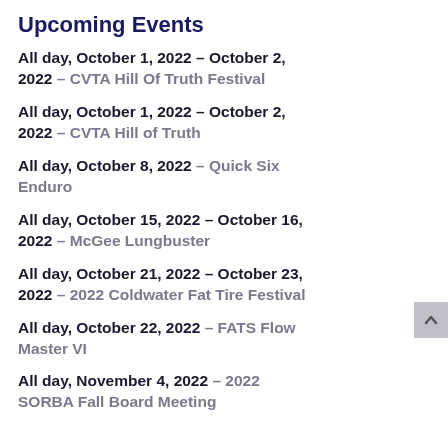Upcoming Events
All day, October 1, 2022 – October 2, 2022 – CVTA Hill Of Truth Festival
All day, October 1, 2022 – October 2, 2022 – CVTA Hill of Truth
All day, October 8, 2022 – Quick Six Enduro
All day, October 15, 2022 – October 16, 2022 – McGee Lungbuster
All day, October 21, 2022 – October 23, 2022 – 2022 Coldwater Fat Tire Festival
All day, October 22, 2022 – FATS Flow Master VI
All day, November 4, 2022 – 2022 SORBA Fall Board Meeting